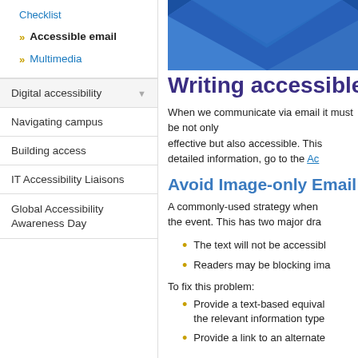Checklist
Accessible email
Multimedia
Digital accessibility
Navigating campus
Building access
IT Accessibility Liaisons
Global Accessibility Awareness Day
[Figure (illustration): Email envelope illustration with blue geometric shapes]
Writing accessible e...
When we communicate via email it must be not only effective but also accessible. This... detailed information, go to the Ac...
Avoid Image-only Email...
A commonly-used strategy when... the event. This has two major dra...
The text will not be accessibl...
Readers may be blocking ima...
To fix this problem:
Provide a text-based equivale... the relevant information type...
Provide a link to an alternate...